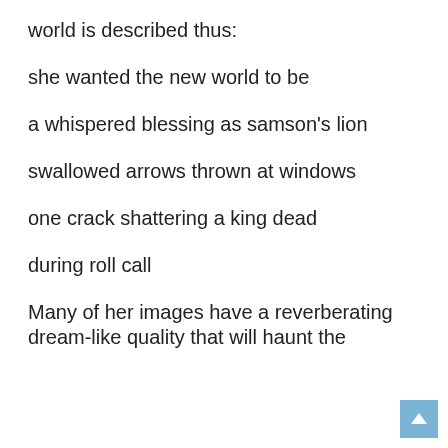world is described thus:
she wanted the new world to be
a whispered blessing as samson's lion
swallowed arrows thrown at windows
one crack shattering a king dead
during roll call
Many of her images have a reverberating dream-like quality that will haunt the